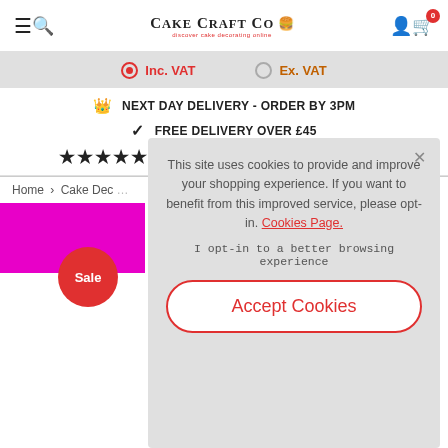Cake Craft Co — discover cake decorating online
Inc. VAT | Ex. VAT
NEXT DAY DELIVERY - ORDER BY 3PM
FREE DELIVERY OVER £45
★★★★★ RATED 'EXCELLENT' ON TRUSTPILOT
Home › Cake Dec...
[Figure (other): Pink/magenta product image placeholder with red Sale badge]
This site uses cookies to provide and improve your shopping experience. If you want to benefit from this improved service, please opt-in. Cookies Page.
I opt-in to a better browsing experience
Accept Cookies